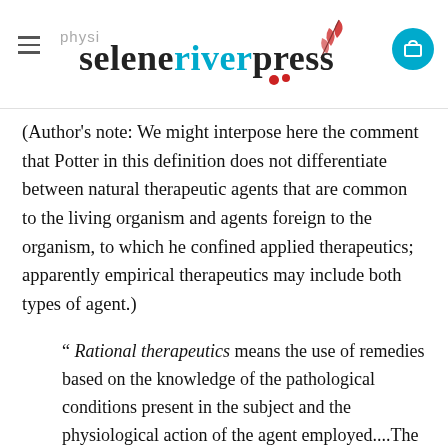seleneriverpress
(Author's note: We might interpose here the comment that Potter in this definition does not differentiate between natural therapeutic agents that are common to the living organism and agents foreign to the organism, to which he confined applied therapeutics; apparently empirical therapeutics may include both types of agent.)
“ Rational therapeutics means the use of remedies based on the knowledge of the pathological conditions present in the subject and the physiological action of the agent employed....The illustrious Albrecht von Haller, the father of physiology and the author of the